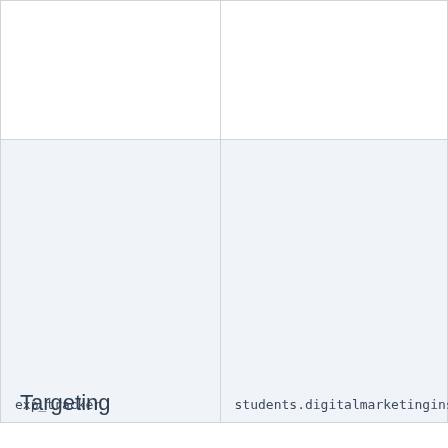|  |  |
| exp_tracker | students.digitalmarketinginstitute.com |
Targeting